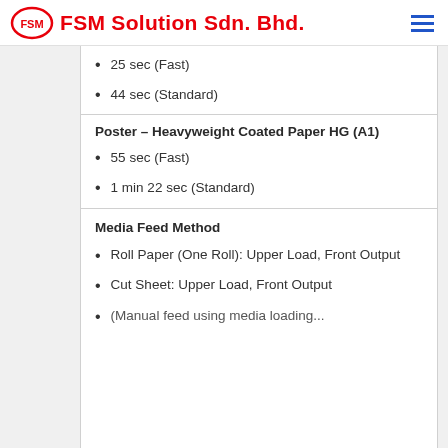FSM Solution Sdn. Bhd.
25 sec (Fast)
44 sec (Standard)
Poster – Heavyweight Coated Paper HG (A1)
55 sec (Fast)
1 min 22 sec (Standard)
Media Feed Method
Roll Paper (One Roll): Upper Load, Front Output
Cut Sheet: Upper Load, Front Output
(Manual feed using media loading...)